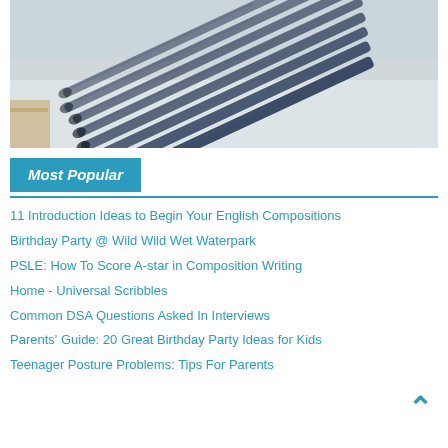[Figure (photo): A pile of dark navy blue ballpoint pens stacked on a white table surface, viewed from close up at an angle.]
Most Popular
11 Introduction Ideas to Begin Your English Compositions
Birthday Party @ Wild Wild Wet Waterpark
PSLE: How To Score A-star in Composition Writing
Home - Universal Scribbles
Common DSA Questions Asked In Interviews
Parents' Guide: 20 Great Birthday Party Ideas for Kids
Teenager Posture Problems: Tips For Parents